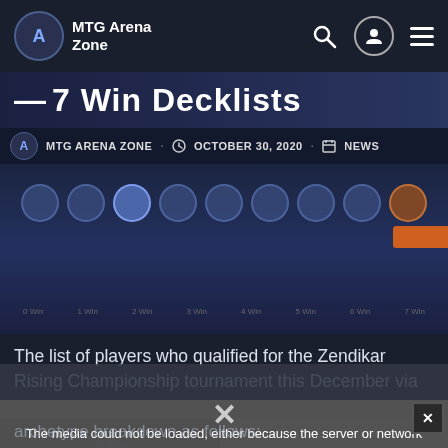MTG Arena Zone
7 Win Decklists
MTG ARENA ZONE · OCTOBER 30, 2020 · NEWS
[Figure (screenshot): MTG Arena game screenshot showing a row of circular player icons and an orange button]
The list of players who qualified for the Zendikar Rising Championship tournament this December via
[Figure (photo): Dark Souls video game advertisement with dark fantasy artwork and DARK SOULS text]
Online features for Dark Souls III reactivated on PC
The media could not be loaded, either because the server or network failed or because the format is not supported.
archetype breakdown as follows: